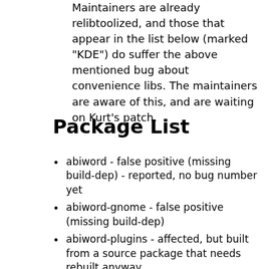Maintainers are already relibtoolized, and those that appear in the list below (marked "KDE") do suffer the above mentioned bug about convenience libs. The maintainers are aware of this, and are waiting on Kurt's patch.
Package List
abiword - false positive (missing build-dep) - reported, no bug number yet
abiword-gnome - false positive (missing build-dep)
abiword-plugins - affected, but built from a source package that needs rebuilt anyway
abiword-plugins-gnome - affected, but built from a source package that needs rebuilt anyway
advi - false positive, ocaml only supports static libs
amaya - false positive (missing build-dep)
apollon - reported, no bug number yet
ark - KDE